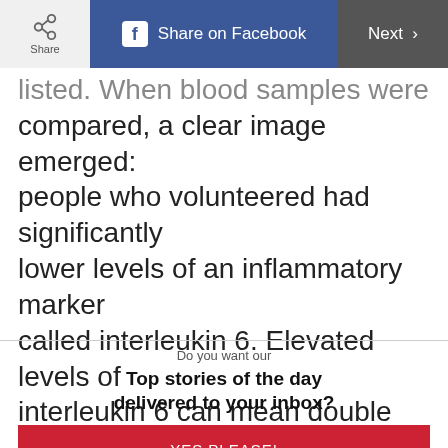Share | Share on Facebook | Next
listed. When blood samples were compared, a clear image emerged: people who volunteered had significantly lower levels of an inflammatory marker called interleukin 6. Elevated levels of interleukin 6 can mean double the risk of dying within the next five years.
Do you want our
Top stories of the day delivered to your inbox?
YES PLEASE!
NO THANKS